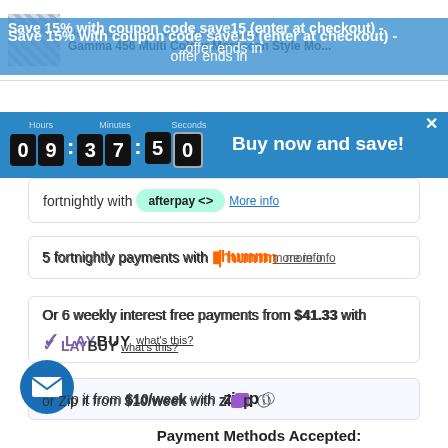[Figure (screenshot): E-commerce product page screenshot showing notification, coupon banner, countdown timer, and payment options including Afterpay, Humm, Laybuy, and Zip]
New South Wales, Australia purchased
Gamma 456 Multi Colour Moroccan Style Mo...
Save 15% with coupon code save15 (enter at checkout) - offer ends in
Hours 09 : Minutes 37 : Seconds 50  Buy now and save!
fortnightly with afterpay  More info
5 fortnightly payments with humm  more info
Or 6 weekly interest free payments from $41.33 with  LAY BUY  what's this?
or Zip it from $10/week with Zip
Payment Methods Accepted: